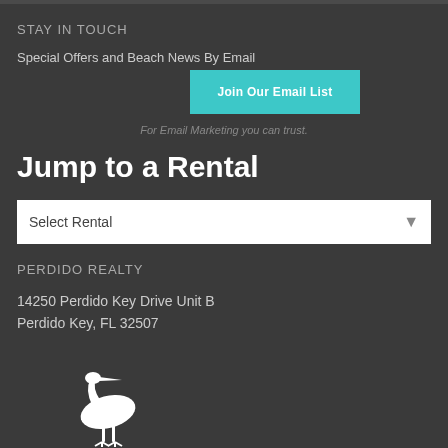STAY IN TOUCH
Special Offers and Beach News By Email
Join Our Email List
For Email Marketing you can trust.
Jump to a Rental
Select Rental
PERDIDO REALTY
14250 Perdido Key Drive Unit B
Perdido Key, FL 32507
[Figure (illustration): White heron/egret bird silhouette logo]